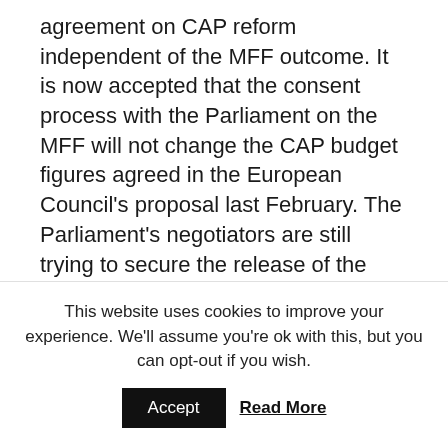agreement on CAP reform independent of the MFF outcome. It is now accepted that the consent process with the Parliament on the MFF will not change the CAP budget figures agreed in the European Council's proposal last February. The Parliament's negotiators are still trying to secure the release of the individual member state allocations for Pillar 2 rural development funding agreed as part of the European Council package, but even the continued suppression of these figures is not likely to be a stumbling block to a political agreement on the CAP regulations themselves.
This website uses cookies to improve your experience. We'll assume you're ok with this, but you can opt-out if you wish.
Accept | Read More